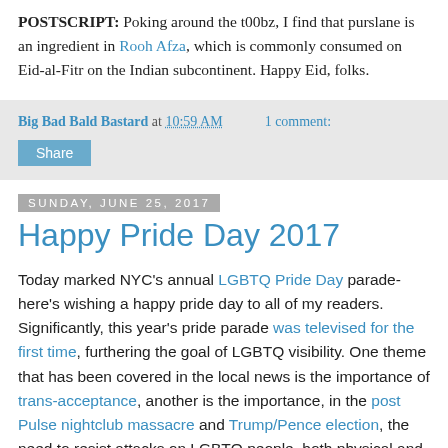POSTSCRIPT: Poking around the t00bz, I find that purslane is an ingredient in Rooh Afza, which is commonly consumed on Eid-al-Fitr on the Indian subcontinent. Happy Eid, folks.
Big Bad Bald Bastard at 10:59 AM    1 comment:
Share
Sunday, June 25, 2017
Happy Pride Day 2017
Today marked NYC's annual LGBTQ Pride Day parade- here's wishing a happy pride day to all of my readers. Significantly, this year's pride parade was televised for the first time, furthering the goal of LGBTQ visibility. One theme that has been covered in the local news is the importance of trans-acceptance, another is the importance, in the post Pulse nightclub massacre and Trump/Pence election, the need to resist attacks on LGBTQ people, both physical and